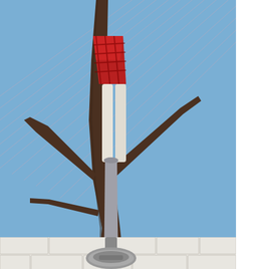[Figure (photo): A mannequin wearing white pants and a red plaid top, positioned in the branches of a dead tree. Background shows blue sky with diagonal cable/wire lines visible. Bottom of frame shows red/brown elements.]
[Figure (photo): A white painted brick wall with a metal pipe/fixture at top center, and a wooden-framed vintage street sign reading 'ABBEY ROAD NW8 CITY OF WESTMINSTER'. On the right side is a circular chevron/up-arrow icon.]